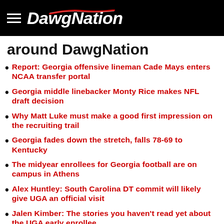DawgNation
around DawgNation
Report: Georgia offensive lineman Cade Mays enters NCAA transfer portal
Georgia middle linebacker Monty Rice makes NFL draft decision
Why Matt Luke must make a good first impression on the recruiting trail
Georgia fades down the stretch, falls 78-69 to Kentucky
The midyear enrollees for Georgia football are on campus in Athens
Alex Huntley: South Carolina DT commit will likely give UGA an official visit
Jalen Kimber: The stories you haven't read yet about the UGA early enrollee